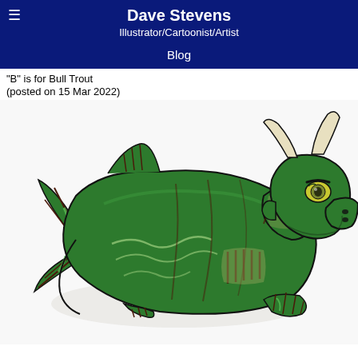Dave Stevens
Illustrator/Cartoonist/Artist
Blog
"B" is for Bull Trout
(posted on 15 Mar 2022)
[Figure (illustration): A cartoon illustration of a bull trout depicted as a hybrid creature with a dark green fish body with fin stripes and a bull's head with two white horns, yellow eyes, and a green snout, floating on a white background.]